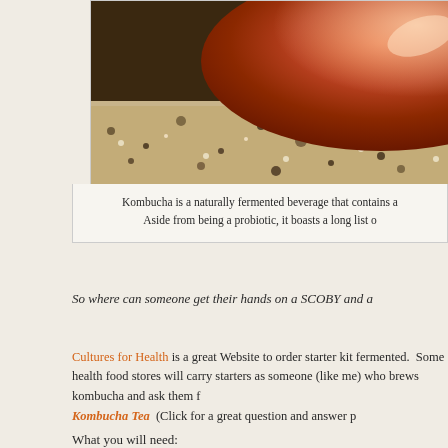[Figure (photo): Close-up photo of a kombucha SCOBY (reddish-brown disc) resting on a speckled granite or stone surface]
Kombucha is a naturally fermented beverage that contains a Aside from being a probiotic, it boasts a long list o
So where can someone get their hands on a SCOBY and a
Cultures for Health is a great Website to order starter kit fermented. Some health food stores will carry starters as someone (like me) who brews kombucha and ask them f
Kombucha Tea (Click for a great question and answer p
What you will need: